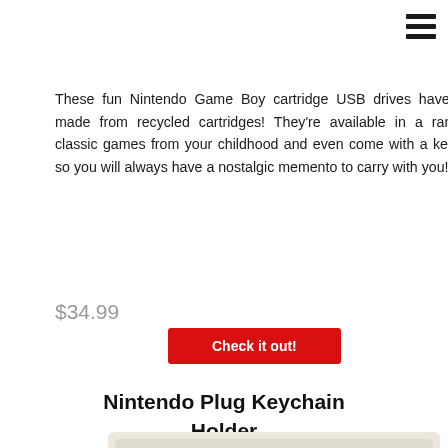[Figure (photo): Partial top view of a Nintendo Game Boy cartridge USB drive product image, cropped at top]
[Figure (illustration): Hamburger/menu icon with three horizontal bars in top right corner]
These fun Nintendo Game Boy cartridge USB drives have been made from recycled cartridges! They're available in a range of classic games from your childhood and even come with a keychain so you will always have a nostalgic memento to carry with you!
$34.99
Check it out!
Nintendo Plug Keychain Holder
[Figure (photo): Partial bottom view of a Nintendo Plug Keychain Holder product, showing a cream/beige rectangular object on white background]